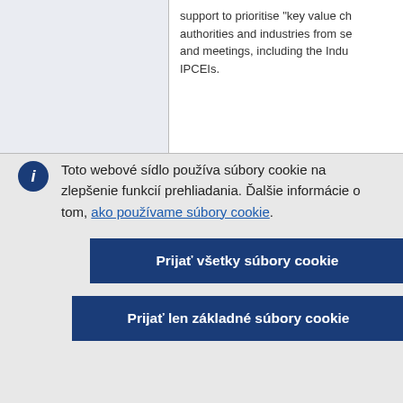|  | support to prioritise "key value ch... authorities and industries from se... and meetings, including the Indu... IPCEIs. |
Toto webové sídlo používa súbory cookie na zlepšenie funkcií prehliadania. Ďalšie informácie o tom, ako používame súbory cookie.
Prijať všetky súbory cookie
Prijať len základné súbory cookie